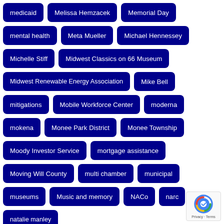medicaid
Melissa Hemzacek
Memorial Day
mental health
Meta Mueller
Michael Hennessey
Michelle Stiff
Midwest Classics on 66 Museum
Midwest Renewable Energy Association
Mike Bell
mitigations
Mobile Workforce Center
moderna
mokena
Monee Park District
Monee Township
Moody Investor Service
mortgage assistance
Moving Will County
multi chamber
municipal
museums
Music and memory
NACo
narc
natalie manley